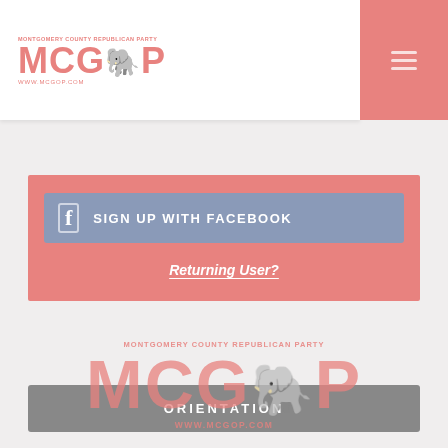[Figure (logo): MCGOP - Montgomery County Republican Party logo with elephant graphic, top header area]
SIGN UP WITH FACEBOOK
Returning User?
ORIENTATION
[Figure (logo): MCGOP - Montgomery County Republican Party large logo, bottom of page, www.mcgop.com]